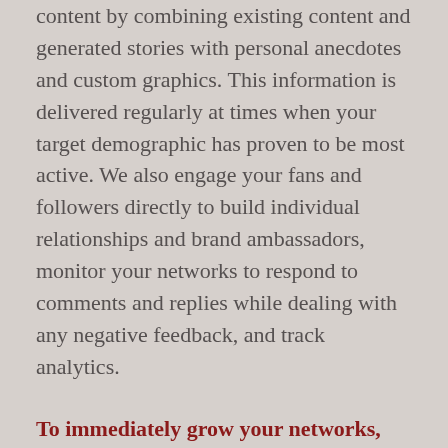content by combining existing content and generated stories with personal anecdotes and custom graphics. This information is delivered regularly at times when your target demographic has proven to be most active. We also engage your fans and followers directly to build individual relationships and brand ambassadors, monitor your networks to respond to comments and replies while dealing with any negative feedback, and track analytics.
To immediately grow your networks, we activate those who are currently engaged with our brands, giving you an immediate boost.
We actively work to grow your networks organically, growing and enhancing your visibility in your target region and amongst your target